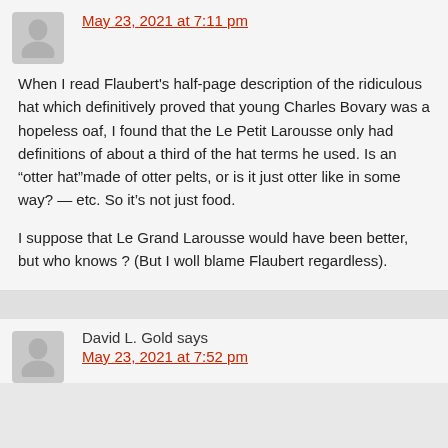May 23, 2021 at 7:11 pm
When I read Flaubert's half-page description of the ridiculous hat which definitively proved that young Charles Bovary was a hopeless oaf, I found that the Le Petit Larousse only had definitions of about a third of the hat terms he used. Is an “otter hat”made of otter pelts, or is it just otter like in some way? — etc. So it’s not just food.
I suppose that Le Grand Larousse would have been better, but who knows ? (But I woll blame Flaubert regardless).
David L. Gold says
May 23, 2021 at 7:52 pm